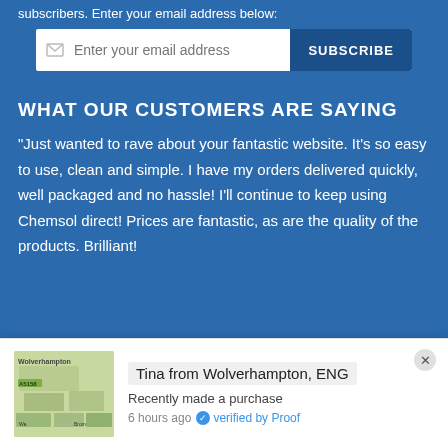subscribers. Enter your email address below:
[Figure (other): Email subscription input box with 'Enter your email address' placeholder and a 'SUBSCRIBE' button]
WHAT OUR CUSTOMERS ARE SAYING
"Just wanted to rave about your fantastic website. It's so easy to use, clean and simple. I have my orders delivered quickly, well packaged and no hassle! I'll continue to keep using Chemsol direct! Prices are fantastic, as are the quality of the products. Brilliant!
PAYMENT OPTIONS
[Figure (other): Popup notification showing a map thumbnail of Wolverhampton, ENG, with text 'Tina from Wolverhampton, ENG', 'Recently made a purchase', '6 hours ago verified by Proof']